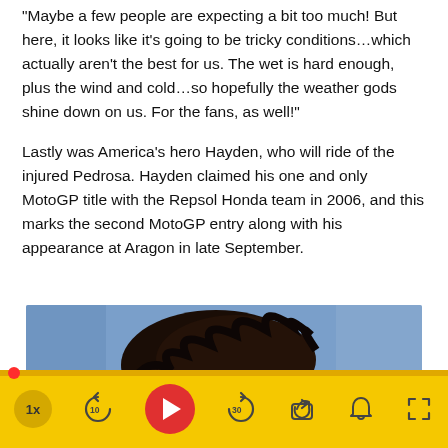“Maybe a few people are expecting a bit too much! But here, it looks like it’s going to be tricky conditions…which actually aren’t the best for us. The wet is hard enough, plus the wind and cold…so hopefully the weather gods shine down on us. For the fans, as well!”
Lastly was America’s hero Hayden, who will ride of the injured Pedrosa. Hayden claimed his one and only MotoGP title with the Repsol Honda team in 2006, and this marks the second MotoGP entry along with his appearance at Aragon in late September.
[Figure (photo): Partial photo of a person with dark curly hair, blue background visible, cropped at head/upper face level.]